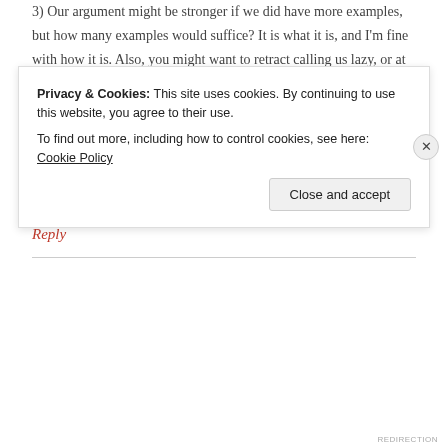3) Our argument might be stronger if we did have more examples, but how many examples would suffice? It is what it is, and I'm fine with how it is. Also, you might want to retract calling us lazy, or at least that we've taken a lazy option. It's pretty clear you're a fan of the ESV and that you do not like our post. That's fine. But if you think we should be held to a standard, shouldn't you hold yourself to that same standard?
— Dave
Like
Reply
Privacy & Cookies: This site uses cookies. By continuing to use this website, you agree to their use. To find out more, including how to control cookies, see here: Cookie Policy